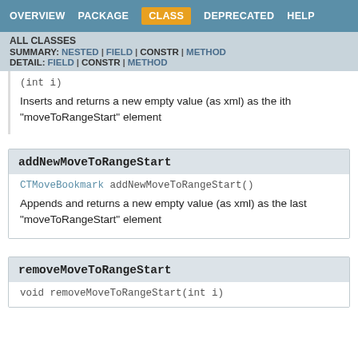OVERVIEW  PACKAGE  CLASS  DEPRECATED  HELP
ALL CLASSES
SUMMARY: NESTED | FIELD | CONSTR | METHOD
DETAIL: FIELD | CONSTR | METHOD
(int i)
Inserts and returns a new empty value (as xml) as the ith "moveToRangeStart" element
addNewMoveToRangeStart
CTMoveBookmark addNewMoveToRangeStart()
Appends and returns a new empty value (as xml) as the last "moveToRangeStart" element
removeMoveToRangeStart
void removeMoveToRangeStart(int i)